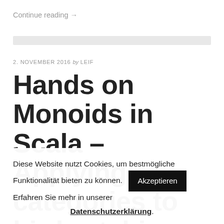Continue reading →
2. NOVEMBER 2016 by LEIF
Hands on Monoids in Scala – Applying categories to birdwatching
Diese Website nutzt Cookies, um bestmögliche Funktionalität bieten zu können. Akzeptieren Erfahren Sie mehr in unserer Datenschutzerklärung.